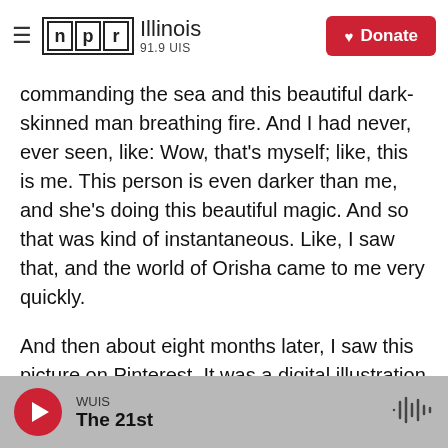NPR Illinois 91.9 UIS | Donate
commanding the sea and this beautiful dark-skinned man breathing fire. And I had never, ever seen, like: Wow, that's myself; like, this is me. This person is even darker than me, and she's doing this beautiful magic. And so that was kind of instantaneous. Like, I saw that, and the world of Orisha came to me very quickly.
And then about eight months later, I saw this picture on Pinterest. It was a digital illustration of this black girl with luminescent green hair. And I'm like: OK, what if she lived in, like, a space colony? What if she was like a fisherman or a fisherman's
WUIS | The 21st